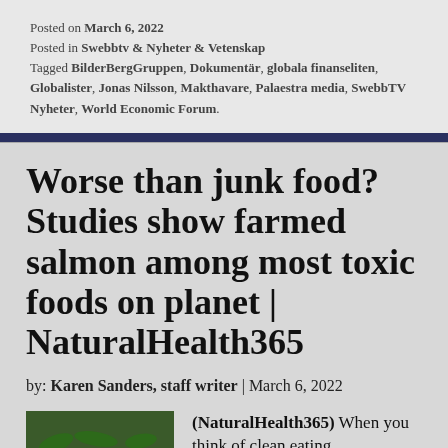Posted on March 6, 2022
Posted in Swebbtv & Nyheter & Vetenskap
Tagged BilderBergGruppen, Dokumentär, globala finanseliten, Globalister, Jonas Nilsson, Makthavare, Palaestra media, SwebbTV Nyheter, World Economic Forum.
Worse than junk food? Studies show farmed salmon among most toxic foods on planet | NaturalHealth365
by: Karen Sanders, staff writer | March 6, 2022
(NaturalHealth365) When you think of clean eating...